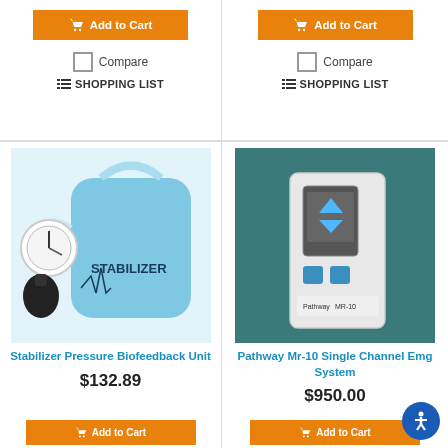[Figure (other): Orange Add to Cart button with shopping cart icon (top-left product, upper portion)]
Compare
≔ SHOPPING LIST
[Figure (other): Orange Add to Cart button with shopping cart icon (top-right product, upper portion)]
Compare
≔ SHOPPING LIST
[Figure (photo): Stabilizer Pressure Biofeedback Unit - light blue inflatable cushion with gauge and bulb pump, branded STABILIZER]
Stabilizer Pressure Biofeedback Unit
$132.89
[Figure (photo): Pathway Mr-10 Single Channel Emg System - white handheld electronic device with digital display and blue buttons on teal background]
Pathway Mr-10 Single Channel Emg System
$950.00